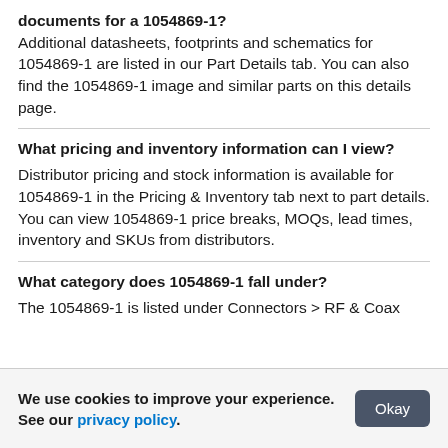documents for a 1054869-1? Additional datasheets, footprints and schematics for 1054869-1 are listed in our Part Details tab. You can also find the 1054869-1 image and similar parts on this details page.
What pricing and inventory information can I view?
Distributor pricing and stock information is available for 1054869-1 in the Pricing & Inventory tab next to part details. You can view 1054869-1 price breaks, MOQs, lead times, inventory and SKUs from distributors.
What category does 1054869-1 fall under?
The 1054869-1 is listed under Connectors > RF & Coax
We use cookies to improve your experience. See our privacy policy.